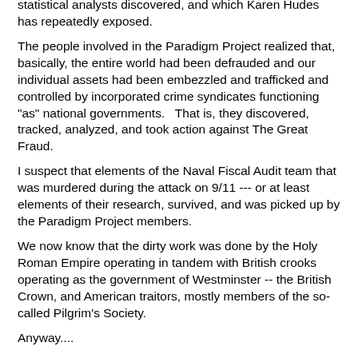statistical analysts discovered, and which Karen Hudes has repeatedly exposed.
The people involved in the Paradigm Project realized that, basically, the entire world had been defrauded and our individual assets had been embezzled and trafficked and controlled by incorporated crime syndicates functioning "as" national governments.   That is, they discovered, tracked, analyzed, and took action against The Great Fraud.
I suspect that elements of the Naval Fiscal Audit team that was murdered during the attack on 9/11 --- or at least elements of their research, survived, and was picked up by the Paradigm Project members.
We now know that the dirty work was done by the Holy Roman Empire operating in tandem with British crooks operating as the government of Westminster -- the British Crown, and American traitors, mostly members of the so-called Pilgrim's Society.
Anyway....
Having discovered The Great Fraud, the brave members of this team of researchers, including Heather Ann Tucci-Jaraff,